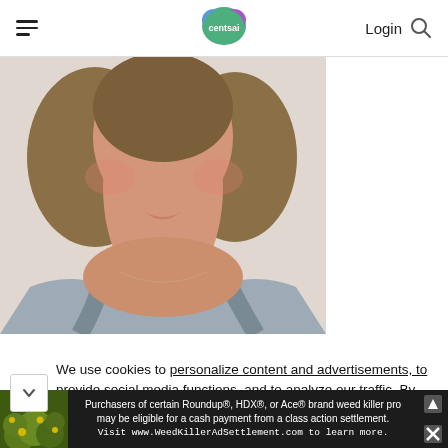CentSai — Login
[Figure (photo): Close-up photo of a young woman with curly brown hair, wearing a blue/gray tank top and a small pendant necklace, photographed from chin to chest against a light background.]
We use cookies to personalize content and advertisements, to provide social media functions, and to analyze our traffic. By continuing to browse this site you consent to the use of cookies.
[Figure (photo): Advertisement banner: green plant/weed image on left with text about Roundup, HDX, or Ace brand weed killer purchase eligibility for cash payment from class action settlement. Visit www.WeedKillerAdSettlement.com to learn more.]